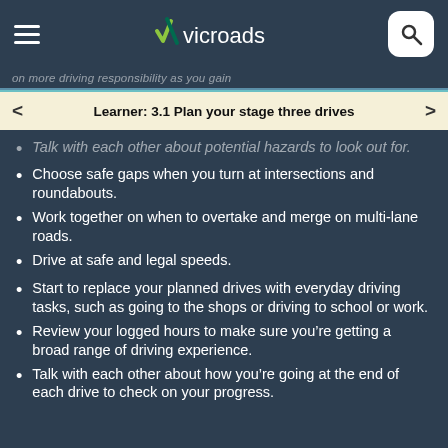VicRoads
on more driving responsibility as you gain
Learner: 3.1 Plan your stage three drives
Talk with each other about potential hazards to look out for.
Choose safe gaps when you turn at intersections and roundabouts.
Work together on when to overtake and merge on multi-lane roads.
Drive at safe and legal speeds.
Start to replace your planned drives with everyday driving tasks, such as going to the shops or driving to school or work.
Review your logged hours to make sure you’re getting a broad range of driving experience.
Talk with each other about how you’re going at the end of each drive to check on your progress.